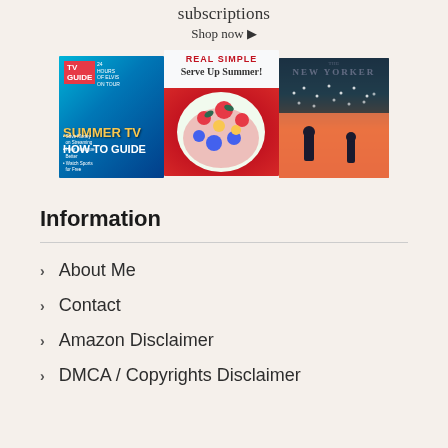subscriptions
Shop now ▶
[Figure (photo): Three magazine covers: TV Guide (Summer TV How To Guide), Real Simple (Serve Up Summer!), and The New Yorker]
Information
About Me
Contact
Amazon Disclaimer
DMCA / Copyrights Disclaimer